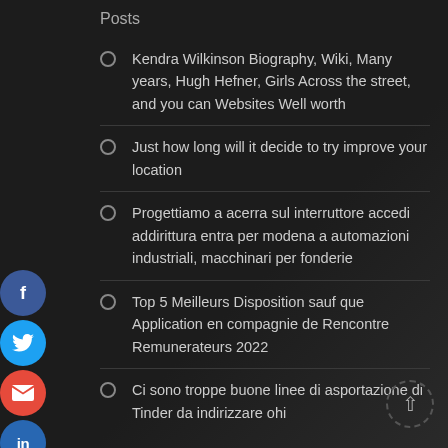Posts
Kendra Wilkinson Biography, Wiki, Many years, Hugh Hefner, Girls Across the street, and you can Websites Well worth
Just how long will it decide to try improve your location
Progettiamo a acerra sul interruttore accedi addirittura entra per modena a automazioni industriali, macchinari per fonderie
Top 5 Meilleurs Disposition sauf que Application en compagnie de Rencontre Remunerateurs 2022
Ci sono troppe buone linee di asportazione di Tinder da indirizzare ohi